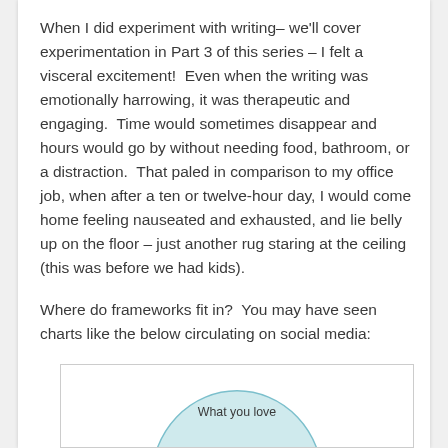When I did experiment with writing– we'll cover experimentation in Part 3 of this series – I felt a visceral excitement!  Even when the writing was emotionally harrowing, it was therapeutic and engaging.  Time would sometimes disappear and hours would go by without needing food, bathroom, or a distraction.  That paled in comparison to my office job, when after a ten or twelve-hour day, I would come home feeling nauseated and exhausted, and lie belly up on the floor – just another rug staring at the ceiling (this was before we had kids).
Where do frameworks fit in?  You may have seen charts like the below circulating on social media:
[Figure (other): Partial view of a Venn diagram or circular chart, showing a circle labeled 'What you love' at the top, partially visible at the bottom of the page.]